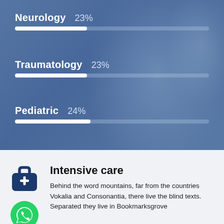[Figure (bar-chart): Medical specialties percentage]
[Figure (illustration): Medical bag icon (dark blue) and WhatsApp icon (green circle)]
Intensive care
Behind the word mountains, far from the countries Vokalia and Consonantia, there live the blind texts. Separated they live in Bookmarksgrove